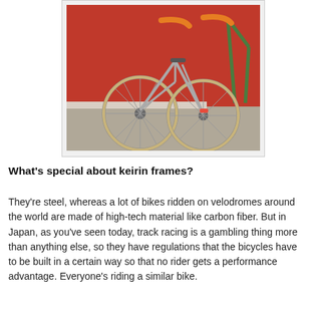[Figure (photo): Photo of keirin bicycles leaning against a red wall on a concrete floor. The bikes have silver frames, orange handlebars/grips, and tan/yellow tires. A green bicycle is partially visible on the right.]
What's special about keirin frames?
They're steel, whereas a lot of bikes ridden on velodromes around the world are made of high-tech material like carbon fiber. But in Japan, as you've seen today, track racing is a gambling thing more than anything else, so they have regulations that the bicycles have to be built in a certain way so that no rider gets a performance advantage. Everyone's riding a similar bike.